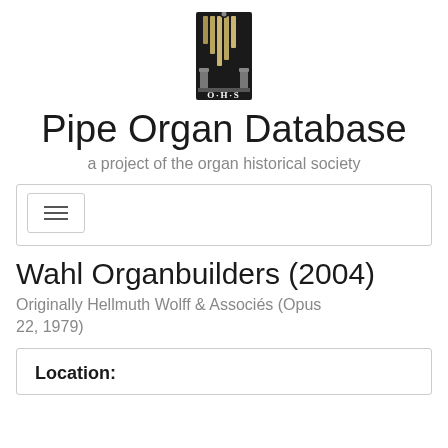[Figure (logo): OHS (Organ Historical Society) logo — pipe organ image above text 'O·H·S' on dark background]
Pipe Organ Database
a project of the organ historical society
[Figure (other): Navigation bar with hamburger menu toggle button]
Wahl Organbuilders (2004)
Originally Hellmuth Wolff & Associés (Opus 22, 1979)
Location: